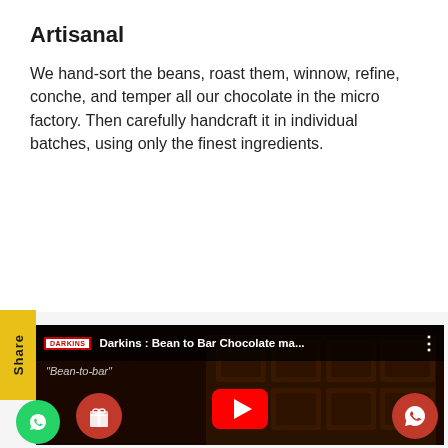Artisanal
We hand-sort the beans, roast them, winnow, refine, conche, and temper all our chocolate in the micro factory. Then carefully handcraft it in individual batches, using only the finest ingredients.
[Figure (screenshot): YouTube video thumbnail showing dark chocolate bar pieces with Darkins Bean to Bar Chocolate video title overlay, play button, share tab, gift icon, and WhatsApp icons]